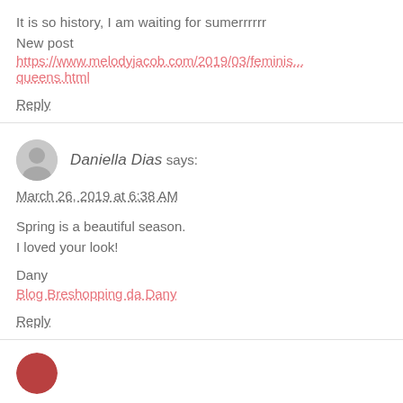It is so history, I am waiting for sumerrrrrr
New post
https://www.melodyjacob.com/2019/03/feminis...queens.html
Reply
Daniella Dias says:
March 26, 2019 at 6:38 AM
Spring is a beautiful season.
I loved your look!
Dany
Blog Breshopping da Dany
Reply